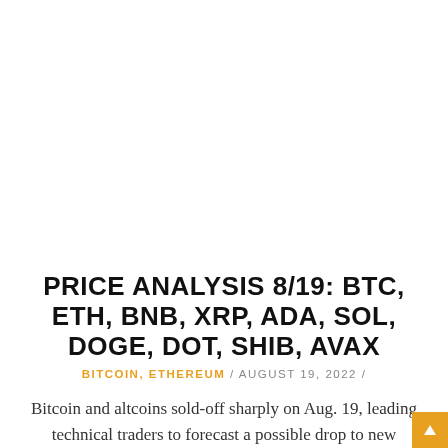PRICE ANALYSIS 8/19: BTC, ETH, BNB, XRP, ADA, SOL, DOGE, DOT, SHIB, AVAX
BITCOIN, ETHEREUM / AUGUST 19, 2022 /
Bitcoin and altcoins sold-off sharply on Aug. 19, leading technical traders to forecast a possible drop to new yearly